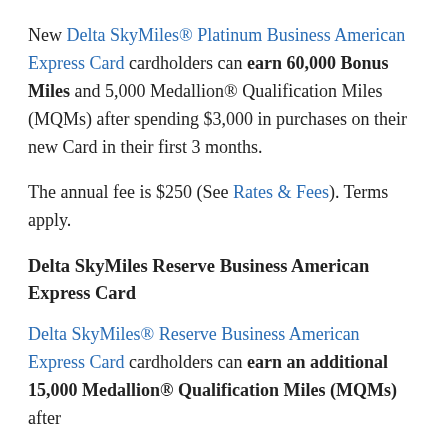New Delta SkyMiles® Platinum Business American Express Card cardholders can earn 60,000 Bonus Miles and 5,000 Medallion® Qualification Miles (MQMs) after spending $3,000 in purchases on their new Card in their first 3 months.
The annual fee is $250 (See Rates & Fees). Terms apply.
Delta SkyMiles Reserve Business American Express Card
Delta SkyMiles® Reserve Business American Express Card cardholders can earn an additional 15,000 Medallion® Qualification Miles (MQMs) after